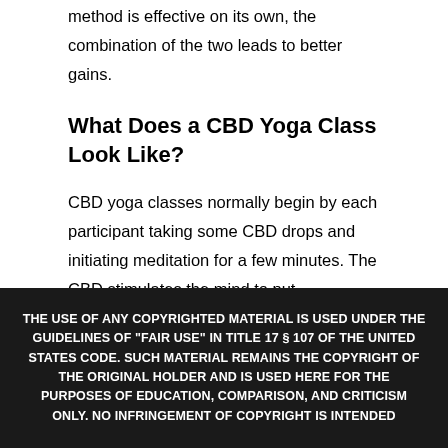method is effective on its own, the combination of the two leads to better gains.
What Does a CBD Yoga Class Look Like?
CBD yoga classes normally begin by each participant taking some CBD drops and initiating meditation for a few minutes. The CBD stimulates the mind to put participants in the right mindset for yoga. Next, the instructor guides the class through various yoga poses and postures to explore the
THE USE OF ANY COPYRIGHTED MATERIAL IS USED UNDER THE GUIDELINES OF "FAIR USE" IN TITLE 17 § 107 OF THE UNITED STATES CODE. SUCH MATERIAL REMAINS THE COPYRIGHT OF THE ORIGINAL HOLDER AND IS USED HERE FOR THE PURPOSES OF EDUCATION, COMPARISON, AND CRITICISM ONLY. NO INFRINGEMENT OF COPYRIGHT IS INTENDED